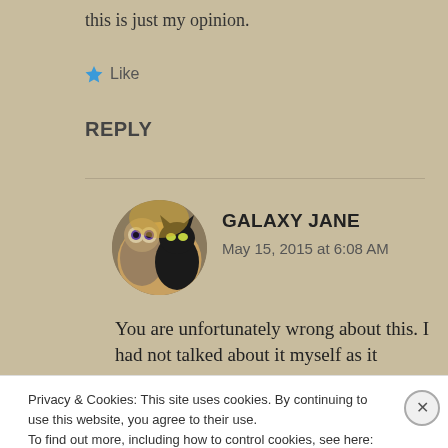this is just my opinion.
Like
REPLY
GALAXY JANE
May 15, 2015 at 6:08 AM
[Figure (photo): Circular avatar photo showing an owl and a black cat]
You are unfortunately wrong about this. I had not talked about it myself as it
Privacy & Cookies: This site uses cookies. By continuing to use this website, you agree to their use.
To find out more, including how to control cookies, see here: Cookie Policy
Close and accept